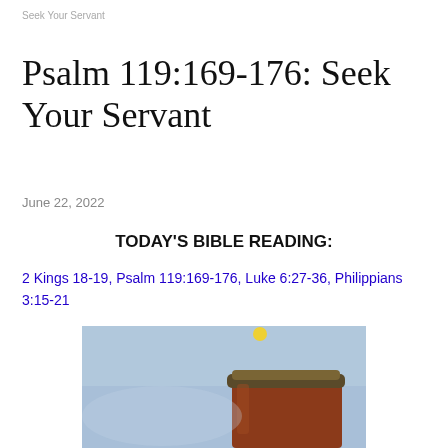Seek Your Servant
Psalm 119:169-176: Seek Your Servant
June 22, 2022
TODAY'S BIBLE READING:
2 Kings 18-19, Psalm 119:169-176, Luke 6:27-36, Philippians 3:15-21
[Figure (photo): Photo of a cup of tea or coffee with a lid, set against a blue sky background with a small yellow sun or light visible at the top]